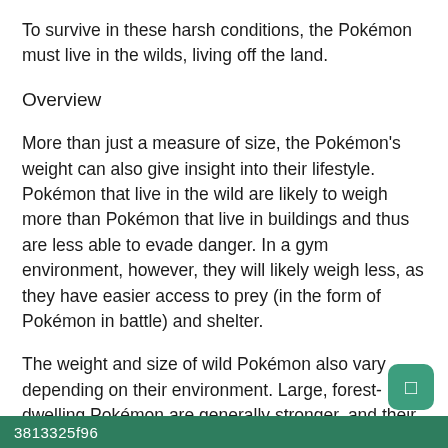To survive in these harsh conditions, the Pokémon must live in the wilds, living off the land.
Overview
More than just a measure of size, the Pokémon's weight can also give insight into their lifestyle. Pokémon that live in the wild are likely to weigh more than Pokémon that live in buildings and thus are less able to evade danger. In a gym environment, however, they will likely weigh less, as they have easier access to prey (in the form of Pokémon in battle) and shelter.
The weight and size of wild Pokémon also vary depending on their environment. Large, forest-dwelling Pokémon are generally stronger, and their thick hide provides them with a level of protection. Pokémon that live in colder climates are often smaller, as they have to store more heat
3813325f96